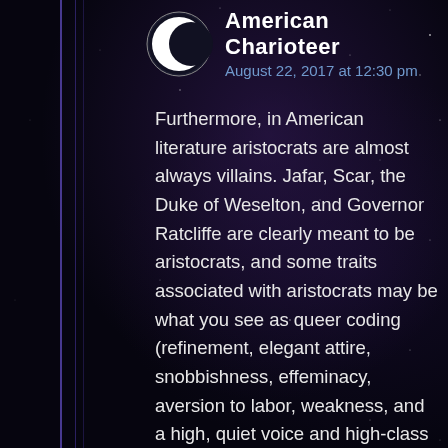American Charioteer
August 22, 2017 at 12:30 pm
Furthermore, in American literature aristocrats are almost always villains. Jafar, Scar, the Duke of Weselton, and Governor Ratcliffe are clearly meant to be aristocrats, and some traits associated with aristocrats may be what you see as queer coding (refinement, elegant attire, snobbishness, effeminacy, aversion to labor, weakness, and a high, quiet voice and high-class speech). I don't think the queer-coding was intended by Disney at all, they were just continuing nearly universal tropes that have no root in homophobia. If one were trying to